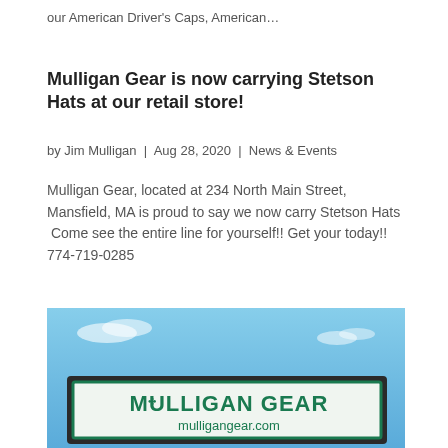our American Driver's Caps, American…
Mulligan Gear is now carrying Stetson Hats at our retail store!
by Jim Mulligan  |  Aug 28, 2020  |  News & Events
Mulligan Gear, located at 234 North Main Street, Mansfield, MA is proud to say we now carry Stetson Hats  Come see the entire line for yourself!! Get your today!! 774-719-0285
[Figure (photo): Exterior storefront sign reading 'Mulligan Gear mulligangear.com' with green text on white background against blue sky]